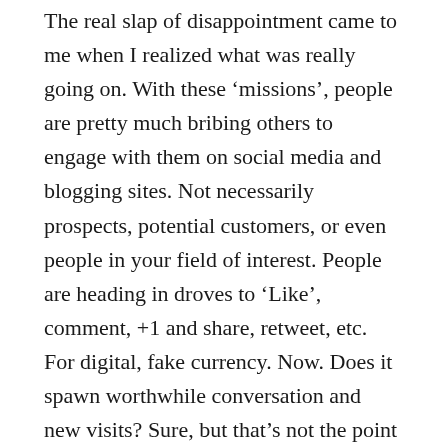The real slap of disappointment came to me when I realized what was really going on. With these 'missions', people are pretty much bribing others to engage with them on social media and blogging sites. Not necessarily prospects, potential customers, or even people in your field of interest. People are heading in droves to 'Like', comment, +1 and share, retweet, etc. For digital, fake currency. Now. Does it spawn worthwhile conversation and new visits? Sure, but that's not the point that bothered me.
I look to others in the industry for inspiration, guidance, perhaps some best practices. I feel like I've been fed lies. Social media posts that I see that are super successful, blog posts that get tons of comments and shares, so many predicated on bribery. Here I am, thinking I've been failing at blogging because I kept getting tons of